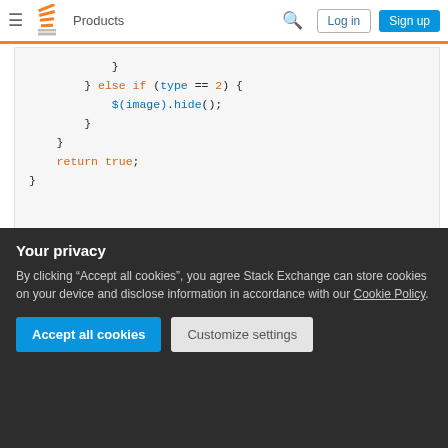≡ [Stack Overflow logo] Products 🔍 Log in Sign up
[Figure (screenshot): Code block showing JavaScript snippet with else-if branch checking type==2, hiding image, and returning true]
Share   Follow
edited May 23, 2017 at 11:55
Community Bot
1 ● 1
answered Jun 29, 2014 at 10:28
Your privacy
By clicking "Accept all cookies", you agree Stack Exchange can store cookies on your device and disclose information in accordance with our Cookie Policy.
Accept all cookies   Customize settings